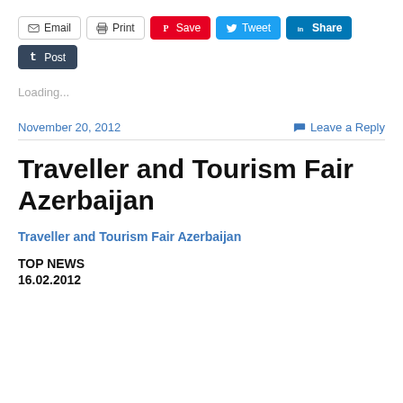[Figure (screenshot): Social sharing buttons: Email, Print, Save (Pinterest), Tweet (Twitter), Share (LinkedIn), Post (Tumblr)]
Loading...
November 20, 2012    Leave a Reply
Traveller and Tourism Fair Azerbaijan
Traveller and Tourism Fair Azerbaijan
TOP NEWS
16.02.2012